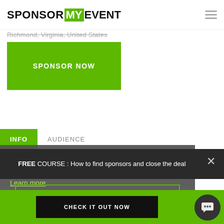SPONSOR MY EVENT
Richmond, Virginia, United States
SPONSOR NOW
INFO   AUDIENCE
This website uses cookies to ensure you get the best experience on our website. Learn more
FREE COURSE : How to find sponsors and close the deal
Got it!
CHECK IT OUT NOW